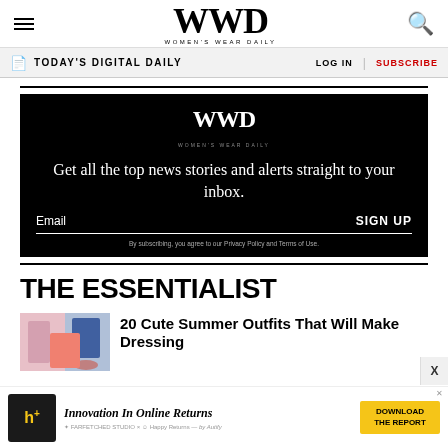WWD WOMEN'S WEAR DAILY
TODAY'S DIGITAL DAILY | LOG IN | SUBSCRIBE
[Figure (infographic): WWD email newsletter signup box with headline 'Get all the top news stories and alerts straight to your inbox.' and an Email / SIGN UP field. Footer text: 'By subscribing, you agree to our Privacy Policy and Terms of Use.']
THE ESSENTIALIST
20 Cute Summer Outfits That Will Make Dressing
[Figure (photo): Thumbnail image showing colorful summer outfits]
Innovation In Online Returns — DOWNLOAD THE REPORT